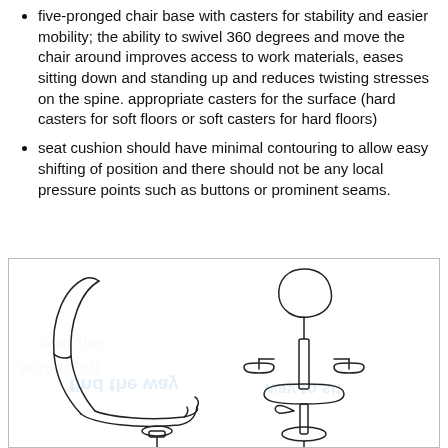five-pronged chair base with casters for stability and easier mobility; the ability to swivel 360 degrees and move the chair around improves access to work materials, eases sitting down and standing up and reduces twisting stresses on the spine. appropriate casters for the surface (hard casters for soft floors or soft casters for hard floors)
seat cushion should have minimal contouring to allow easy shifting of position and there should not be any local pressure points such as buttons or prominent seams.
[Figure (illustration): Two line drawings of ergonomic office chairs side by side. Left: a side-profile view of a chair showing a curved backrest and seat with base. Right: a front/side view of a chair showing headrest, seat and adjustable armrests on a post. Mirrored watermark text visible in the background.]